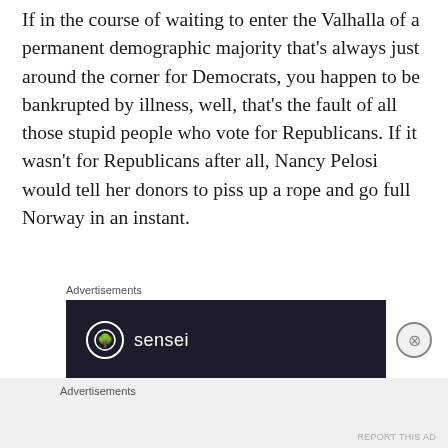If in the course of waiting to enter the Valhalla of a permanent demographic majority that's always just around the corner for Democrats, you happen to be bankrupted by illness, well, that's the fault of all those stupid people who vote for Republicans. If it wasn't for Republicans after all, Nancy Pelosi would tell her donors to piss up a rope and go full Norway in an instant.
[Figure (other): Advertisement banner for 'sensei' with dark background, showing the sensei logo (tree icon in circle) and brand name in white text on dark navy background. A close button (X in circle) appears to the right.]
Advertisements
Advertisements